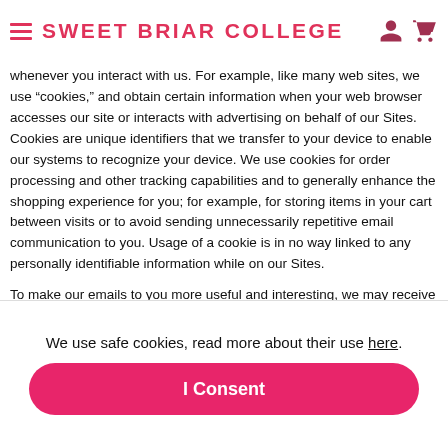SWEET BRIAR COLLEGE
whenever you interact with us. For example, like many web sites, we use “cookies,” and obtain certain information when your web browser accesses our site or interacts with advertising on behalf of our Sites.
Cookies are unique identifiers that we transfer to your device to enable our systems to recognize your device. We use cookies for order processing and other tracking capabilities and to generally enhance the shopping experience for you; for example, for storing items in your cart between visits or to avoid sending unnecessarily repetitive email communication to you. Usage of a cookie is in no way linked to any personally identifiable information while on our Sites.
To make our emails to you more useful and interesting, we may receive a confirmation if you open one of our communications if your device supports such capabilities.
We use safe cookies, read more about their use here.
I Consent